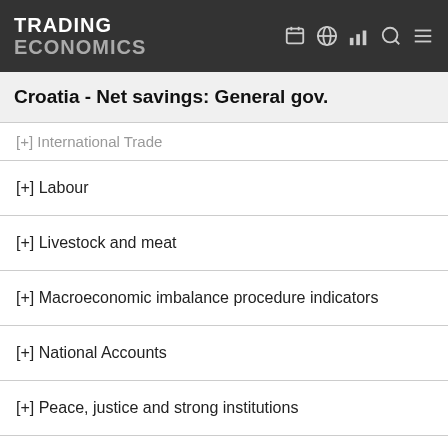TRADING ECONOMICS
Croatia - Net savings: General gov.
[+] International Trade
[+] Labour
[+] Livestock and meat
[+] Macroeconomic imbalance procedure indicators
[+] National Accounts
[+] Peace, justice and strong institutions
[+] Population
[+] Poverty
[+] Prices